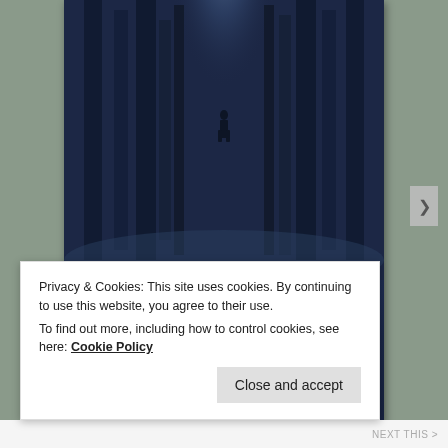[Figure (illustration): Book cover of 'Ghostly Little Tales' showing a dark misty forest with tall trees and a lone silhouette figure in the distance. Dark blue-navy atmospheric background. Title text reads 'Ghostly Little Tales' in bold italic serif white font. Authors listed below: K.A. Crittenden, H.K. Rowe, Tiffany Piel, Roxanne Solangi.]
Privacy & Cookies: This site uses cookies. By continuing to use this website, you agree to their use.
To find out more, including how to control cookies, see here: Cookie Policy
Close and accept